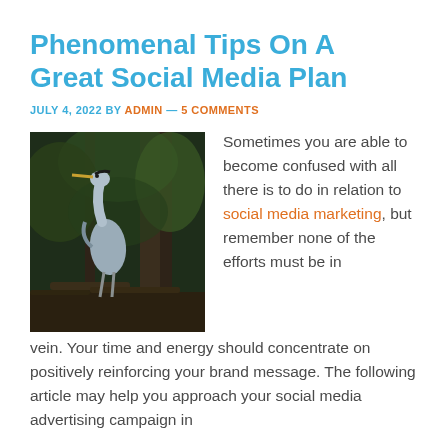Phenomenal Tips On A Great Social Media Plan
JULY 4, 2022 BY ADMIN — 5 COMMENTS
[Figure (photo): A heron bird standing on branches in a dark forest/wetland environment]
Sometimes you are able to become confused with all there is to do in relation to social media marketing, but remember none of the efforts must be in vein. Your time and energy should concentrate on positively reinforcing your brand message. The following article may help you approach your social media advertising campaign in